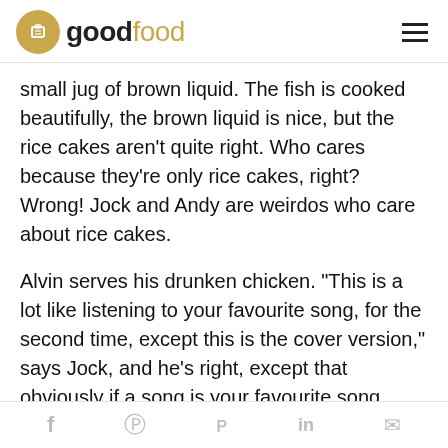good food
small jug of brown liquid. The fish is cooked beautifully, the brown liquid is nice, but the rice cakes aren't quite right. Who cares because they're only rice cakes, right? Wrong! Jock and Andy are weirdos who care about rice cakes.
Alvin serves his drunken chicken. "This is a lot like listening to your favourite song, for the second time, except this is the cover version," says Jock, and he's right, except that obviously if a song is your favourite song you'd have listened to it more than once already. Also, Jock has never eaten this dish before, so he hasn't even "listened to his favourite song" once. Also, the dish has been cooked by the same person who cooked it the first time, so it's not a cover. Also, food
f  P  y  in  ✉